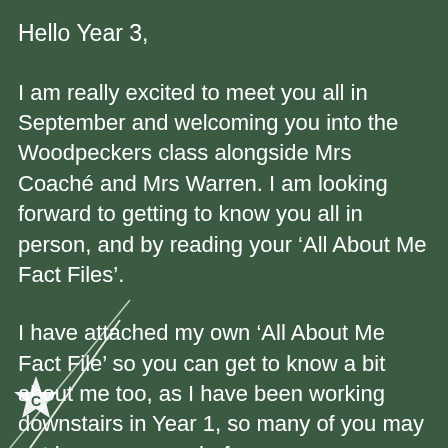Hello Year 3,

I am really excited to meet you all in September and welcoming you into the Woodpeckers class alongside Mrs Coaché and Mrs Warren. I am looking forward to getting to know you all in person, and by reading your ‘All About Me Fact Files’.

I have attached my own ‘All About Me Fact File’ so you can get to know a bit about me too, as I have been working downstairs in Year 1, so many of you may not have seen me before.
[Figure (logo): White star-shaped badge with letter C in center, bottom-left corner of page, with diagonal white lines crossing over it]